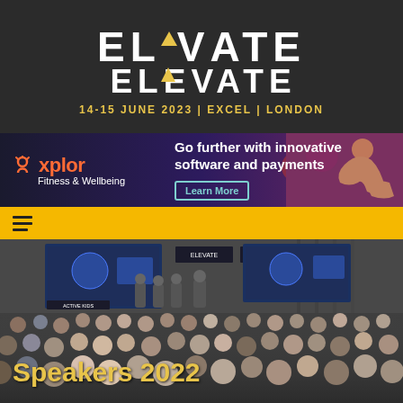[Figure (logo): ELEVATE logo with yellow triangle/arrow above the A, subtitle 14-15 JUNE 2023 | EXCEL | LONDON on dark background]
[Figure (infographic): Xplor Fitness & Wellbeing advertisement banner: Go further with innovative software and payments, Learn More button, woman athlete photo on purple/dark background]
[Figure (other): Hamburger menu icon on yellow/amber navigation bar]
[Figure (photo): Conference hall photo showing audience seated facing a stage with ELEVATE branded screens and panel speakers, with overlay text Speakers 2022 in yellow/gold]
Speakers 2022
Speaking at Elevate